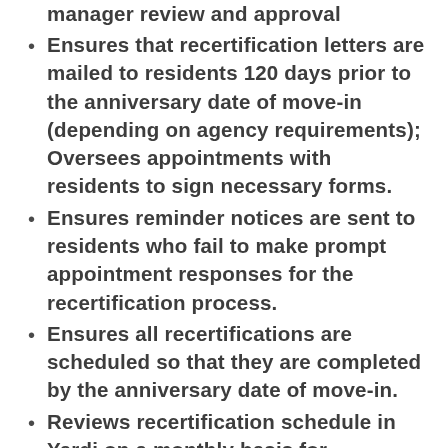manager review and approval
Ensures that recertification letters are mailed to residents 120 days prior to the anniversary date of move-in (depending on agency requirements); Oversees appointments with residents to sign necessary forms.
Ensures reminder notices are sent to residents who fail to make prompt appointment responses for the recertification process.
Ensures all recertifications are scheduled so that they are completed by the anniversary date of move-in.
Reviews recertification schedule in Yardi on a monthly basis for timeliness.
Keeps up-to-date with latest developments in recertification process for property.
Perform all LIHTC applicant interviews.
Responsible for LIHTC compliance in